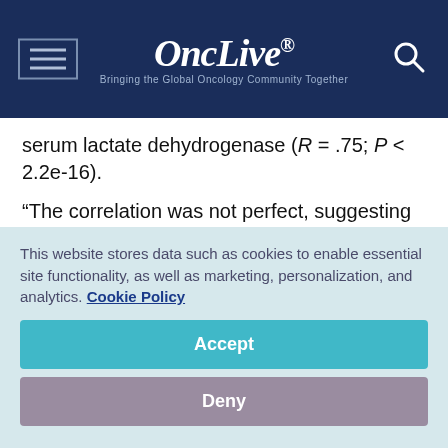OncLive® — Bringing the Global Oncology Community Together
serum lactate dehydrogenase (R = .75; P < 2.2e-16).
“The correlation was not perfect, suggesting some non-redundant information from each of these parameters,” Shoushtari added.
Additionally, 70% of all evaluable patients had any ctDNA reduction with the addition of at least f…
This website stores data such as cookies to enable essential site functionality, as well as marketing, personalization, and analytics. Cookie Policy
Accept
Deny